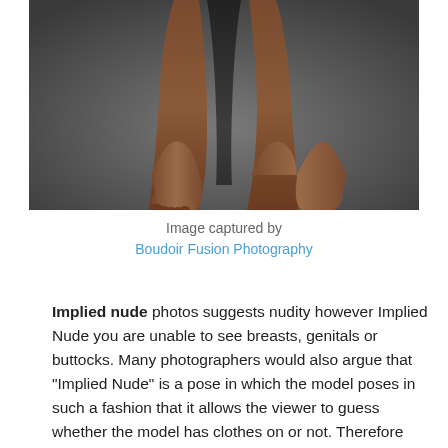[Figure (photo): Close-up studio photo of a person's legs and feet against a dark grey background, viewed from above, suggesting implied nude photography.]
Image captured by
Boudoir Fusion Photography
Implied nude photos suggests nudity however Implied Nude you are unable to see breasts, genitals or buttocks. Many photographers would also argue that “Implied Nude” is a pose in which the model poses in such a fashion that it allows the viewer to guess whether the model has clothes on or not. Therefore “implying” it may be nude. Where as with